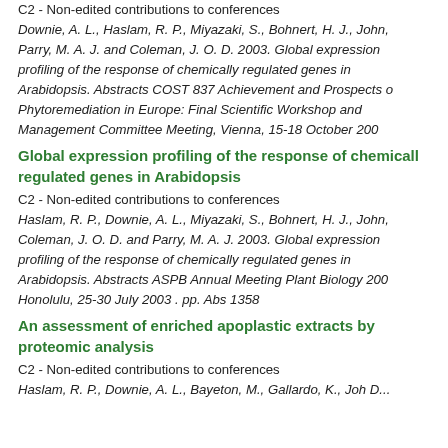C2 - Non-edited contributions to conferences
Downie, A. L., Haslam, R. P., Miyazaki, S., Bohnert, H. J., John, Parry, M. A. J. and Coleman, J. O. D. 2003. Global expression profiling of the response of chemically regulated genes in Arabidopsis. Abstracts COST 837 Achievement and Prospects of Phytoremediation in Europe: Final Scientific Workshop and Management Committee Meeting, Vienna, 15-18 October 200
Global expression profiling of the response of chemically regulated genes in Arabidopsis
C2 - Non-edited contributions to conferences
Haslam, R. P., Downie, A. L., Miyazaki, S., Bohnert, H. J., John, Coleman, J. O. D. and Parry, M. A. J. 2003. Global expression profiling of the response of chemically regulated genes in Arabidopsis. Abstracts ASPB Annual Meeting Plant Biology 200 Honolulu, 25-30 July 2003 . pp. Abs 1358
An assessment of enriched apoplastic extracts by proteomic analysis
C2 - Non-edited contributions to conferences
Haslam, R. P., Downie, A. L., Bayeton, M., Gallardo, K., Joh D...